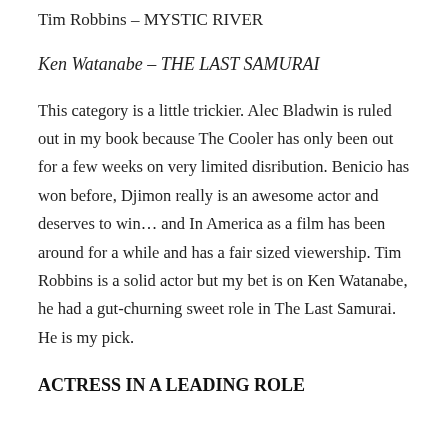Tim Robbins – MYSTIC RIVER
Ken Watanabe – THE LAST SAMURAI
This category is a little trickier. Alec Bladwin is ruled out in my book because The Cooler has only been out for a few weeks on very limited disribution. Benicio has won before, Djimon really is an awesome actor and deserves to win… and In America as a film has been around for a while and has a fair sized viewership. Tim Robbins is a solid actor but my bet is on Ken Watanabe, he had a gut-churning sweet role in The Last Samurai. He is my pick.
ACTRESS IN A LEADING ROLE